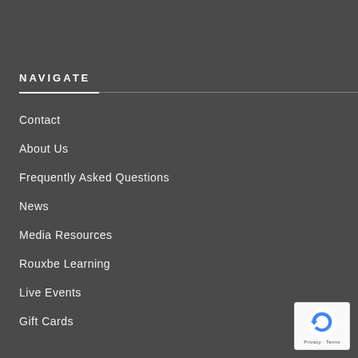NAVIGATE
Contact
About Us
Frequently Asked Questions
News
Media Resources
Rouxbe Learning
Live Events
Gift Cards
[Figure (logo): reCAPTCHA badge with circular arrow logo and Privacy - Terms text]